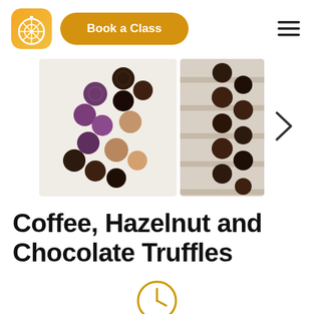[Figure (logo): App logo: orange gradient rounded square with white citrus slice icon]
Book a Class
[Figure (other): Hamburger menu icon (three horizontal lines)]
[Figure (photo): Main image: colorful chocolate truffles in various coatings (purple, dark, hazelnut) arranged on white surface]
[Figure (photo): Secondary image: chocolate truffles arranged in a row on rustic wooden surface]
Coffee, Hazelnut and Chocolate Truffles
[Figure (other): Clock icon in golden/yellow color]
Experience Timing